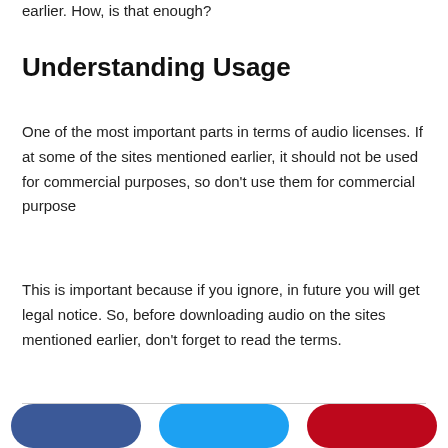earlier. How, is that enough?
Understanding Usage
One of the most important parts in terms of audio licenses. If at some of the sites mentioned earlier, it should not be used for commercial purposes, so don't use them for commercial purpose
This is important because if you ignore, in future you will get legal notice. So, before downloading audio on the sites mentioned earlier, don’t forget to read the terms.
[Figure (other): Social share buttons: Facebook (blue), Twitter (light blue), Pinterest (red)]